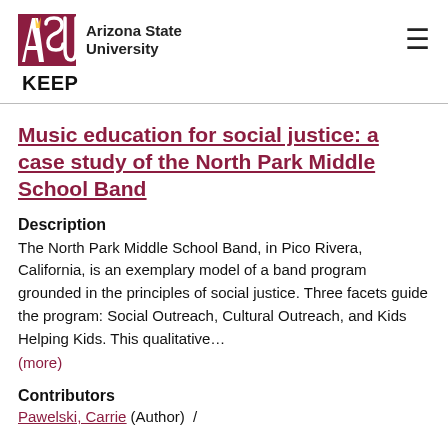ASU Arizona State University | KEEP
Music education for social justice: a case study of the North Park Middle School Band
Description
The North Park Middle School Band, in Pico Rivera, California, is an exemplary model of a band program grounded in the principles of social justice. Three facets guide the program: Social Outreach, Cultural Outreach, and Kids Helping Kids. This qualitative…
(more)
Contributors
Pawelski, Carrie (Author)  /